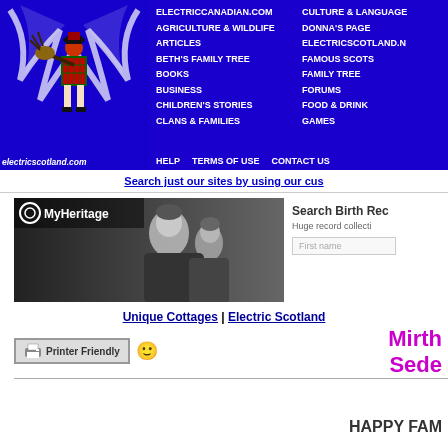[Figure (screenshot): ElectricScotland.com navigation banner with bagpiper logo and blue navigation menu links including ELECTRICCANADIAN.COM, AGRICULTURE & WILDLIFE, ARTICLES, BETH'S FAMILY TREE, BOOKS, BUSINESS, CHILDREN'S STORIES, CLANS & FAMILIES, CULTURE & LANGUAGE, DONNA'S PAGE, ELECTRICSCOTLAND.N, FAMOUS SCOTS, FAMILY TREE, FORUMS, FOOD & DRINK, GAMES, HELP, TERMS OF USE, CONTACT US]
Search just our sites by using our cus
[Figure (screenshot): MyHeritage advertisement showing a black and white photo of a mother and child with text 'Search Birth Rec... Huge record collecti... First name']
Unique Cottages | Electric Scotland
Mirth & Sede
[Figure (other): Printer Friendly button with smiley face emoji]
HAPPY FAM